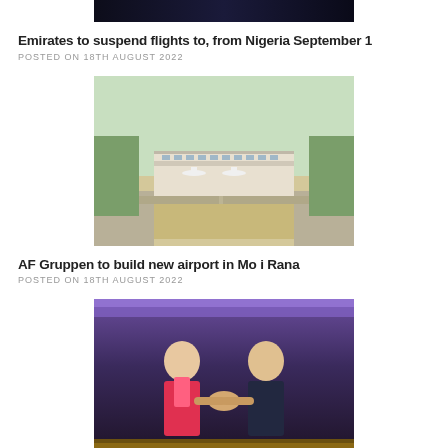[Figure (photo): Partial view of a dark-themed photo at the top of page (cropped)]
Emirates to suspend flights to, from Nigeria September 1
POSTED ON 18TH AUGUST 2022
[Figure (photo): Aerial rendering of a new airport with runways and terminal building]
AF Gruppen to build new airport in Mo i Rana
POSTED ON 18TH AUGUST 2022
[Figure (photo): Two women shaking hands in front of a purple-lit backdrop]
Accenture and Changi Airport Group Extend Collaboration to Enhance Traveller Experience
POSTED ON 18TH AUGUST 2022
[Figure (photo): Partial view of another photo at the bottom of the page (cropped)]